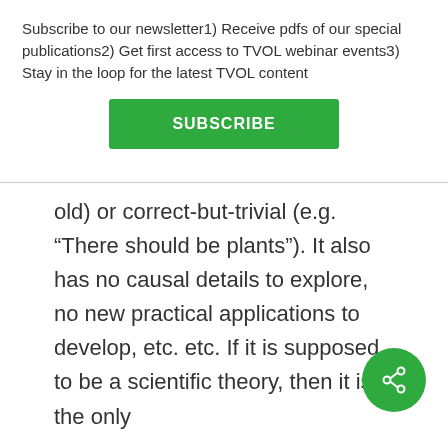Subscribe to our newsletter1) Receive pdfs of our special publications2) Get first access to TVOL webinar events3) Stay in the loop for the latest TVOL content
old) or correct-but-trivial (e.g. “There should be plants”). It also has no causal details to explore, no new practical applications to develop, etc. etc. If it is supposed to be a scientific theory, then it is the only